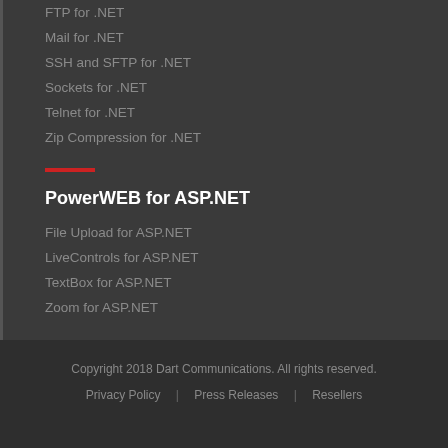FTP for .NET
Mail for .NET
SSH and SFTP for .NET
Sockets for .NET
Telnet for .NET
Zip Compression for .NET
PowerWEB for ASP.NET
File Upload for ASP.NET
LiveControls for ASP.NET
TextBox for ASP.NET
Zoom for ASP.NET
Copyright 2018 Dart Communications. All rights reserved.
Privacy Policy | Press Releases | Resellers